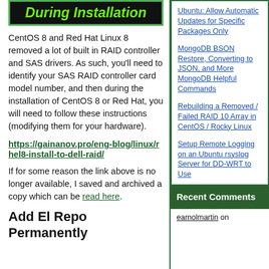During Installation
CentOS 8 and Red Hat Linux 8 removed a lot of built in RAID controller and SAS drivers.  As such, you'll need to identify your SAS RAID controller card model number, and then during the installation of CentOS 8 or Red Hat, you will need to follow these instructions (modifying them for your hardware).
https://gainanov.pro/eng-blog/linux/rhel8-install-to-dell-raid/
If for some reason the link above is no longer available, I saved and archived a copy which can be read here.
Add El Repo Permanently
Ubuntu: Allow Automatic Updates for Specific Packages Only
MongoDB BSON Restore, Converting to JSON, and More MongoDB Helpful Commands
Rebuilding a Removed / Failed RAID 10 Array in CentOS / Rocky Linux
Setup Remote Logging on an Ubuntu rsyslog Server for DD-WRT to Use
Recent Comments
earnolmartin on